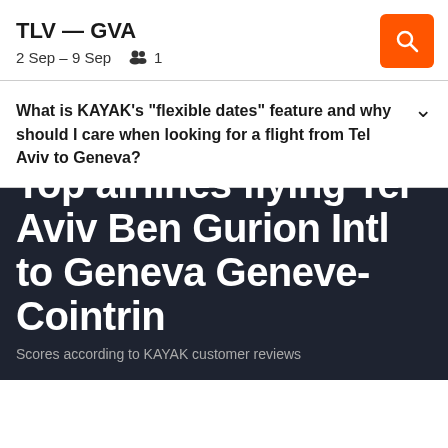TLV — GVA
2 Sep – 9 Sep   1
What is KAYAK's "flexible dates" feature and why should I care when looking for a flight from Tel Aviv to Geneva?
Top airlines flying Tel Aviv Ben Gurion Intl to Geneva Geneve-Cointrin
Scores according to KAYAK customer reviews